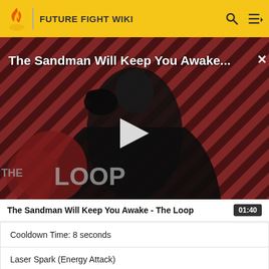FUTURE FIGHT WIKI
[Figure (screenshot): Video thumbnail for 'The Sandman Will Keep You Awake - The Loop' showing a dark-cloaked figure against a red and black diagonal striped background with 'THE LOOP' text overlay and a play button in the center.]
The Sandman Will Keep You Awake - The Loop  01:40
Cooldown Time: 8 seconds
Laser Spark (Energy Attack)